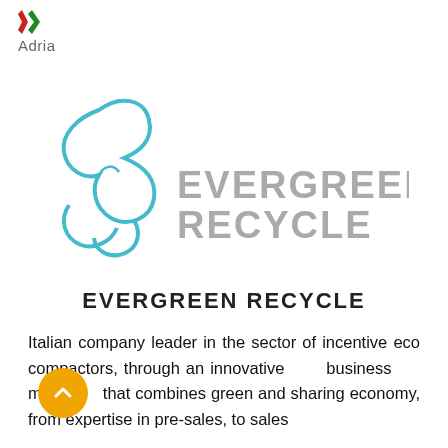[Figure (logo): Adria logo mark (red and green chevron/leaf shapes) with text 'Adria' below]
[Figure (logo): Evergreen Recycle logo: teal/cyan outlined bird or recycling figure on the left, and 'EVERGREEN RECYCLE' in large grey spaced letters on the right]
EVERGREEN RECYCLE
Italian company leader in the sector of incentive eco compactors, through an innovative business model that combines green and sharing economy, from expertise in pre-sales, to sales